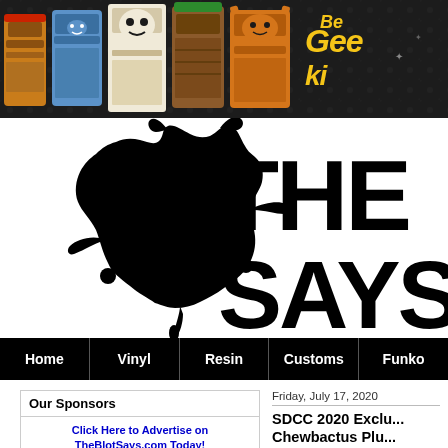[Figure (photo): Banner advertisement for Geeki Tikis showing colorful tiki mugs styled as pop culture characters on a dark patterned background with 'Geeki' logo text in yellow and white]
[Figure (logo): TheBlotSays website logo featuring a black inkblot shape on left and large bold black text 'THE SAYS' on right in distressed/rough font style]
Home | Vinyl | Resin | Customs | Funko
Our Sponsors
Click Here to Advertise on TheBlotSays.com Today!
Friday, July 17, 2020
SDCC 2020 Exclu... Chewbactus Plu...